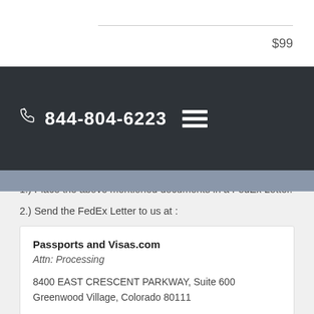Service Fee
$99
[Figure (screenshot): Dark navigation bar with phone icon, phone number 844-804-6223, and hamburger menu icon on a dark charcoal background]
1.) Place the above mentioned documents in a FedEx Letter.
2.) Send the FedEx Letter to us at :
Passports and Visas.com
Attn: Processing

8400 EAST CRESCENT PARKWAY, Suite 600
Greenwood Village, Colorado 80111
The expected processing time for this visa application is 8 business days.
Please note that processing times, fees, and requirements are based on government rules and are subject to change